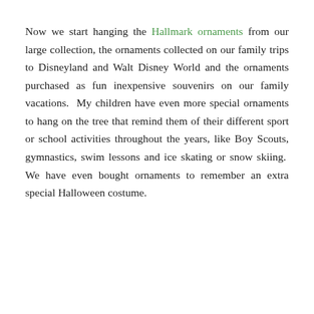Now we start hanging the Hallmark ornaments from our large collection, the ornaments collected on our family trips to Disneyland and Walt Disney World and the ornaments purchased as fun inexpensive souvenirs on our family vacations.  My children have even more special ornaments to hang on the tree that remind them of their different sport or school activities throughout the years, like Boy Scouts, gymnastics, swim lessons and ice skating or snow skiing.  We have even bought ornaments to remember an extra special Halloween costume.